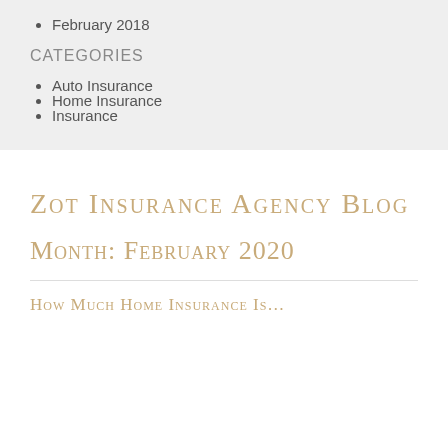February 2018
CATEGORIES
Auto Insurance
Home Insurance
Insurance
Zot Insurance Agency Blog
Month: February 2020
How Much Home Insurance Is…